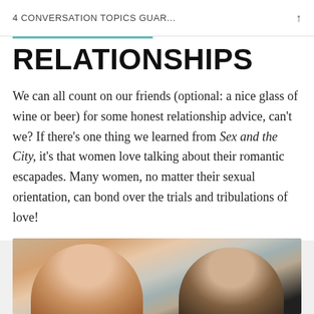4 CONVERSATION TOPICS GUAR...
RELATIONSHIPS
We can all count on our friends (optional: a nice glass of wine or beer) for some honest relationship advice, can't we? If there's one thing we learned from Sex and the City, it's that women love talking about their romantic escapades. Many women, no matter their sexual orientation, can bond over the trials and tribulations of love!
[Figure (photo): Two women sitting on a couch, one with red hair on the left and one with dark hair and glasses on the right, smiling and laughing together with string lights in the background.]